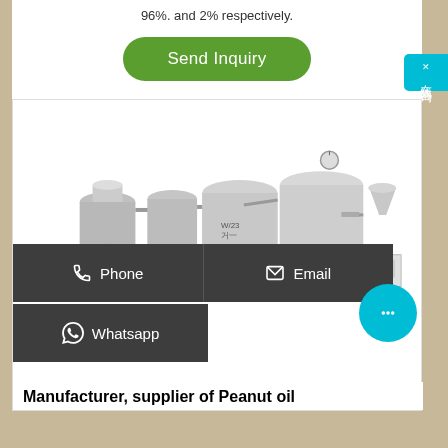96%. and 2% respectively.
Send Inquiry
[Figure (photo): Industrial oil processing/refining equipment — multiple stainless steel tanks, vessels, pumps and pipes arranged as a production line unit for peanut oil manufacturing.]
Phone
Email
Whatsapp
Manufacturer, supplier of Peanut oil